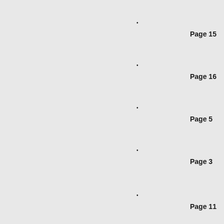•
Page 15
•
Page 16
•
Page 5
•
Page 3
•
Page 11